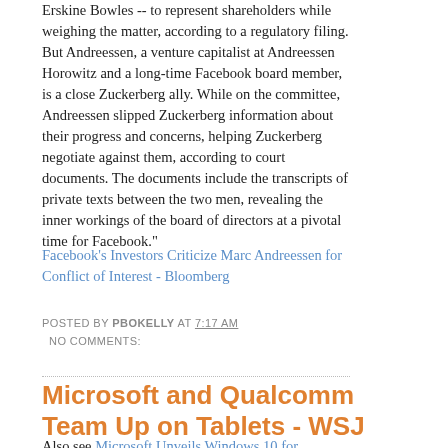Erskine Bowles -- to represent shareholders while weighing the matter, according to a regulatory filing. But Andreessen, a venture capitalist at Andreessen Horowitz and a long-time Facebook board member, is a close Zuckerberg ally. While on the committee, Andreessen slipped Zuckerberg information about their progress and concerns, helping Zuckerberg negotiate against them, according to court documents. The documents include the transcripts of private texts between the two men, revealing the inner workings of the board of directors at a pivotal time for Facebook."
Facebook's Investors Criticize Marc Andreessen for Conflict of Interest - Bloomberg
POSTED BY PBOKELLY AT 7:17 AM
NO COMMENTS:
Microsoft and Qualcomm Team Up on Tablets - WSJ
Also see Microsoft Unveils Windows 10 for